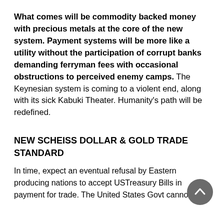What comes will be commodity backed money with precious metals at the core of the new system. Payment systems will be more like a utility without the participation of corrupt banks demanding ferryman fees with occasional obstructions to perceived enemy camps. The Keynesian system is coming to a violent end, along with its sick Kabuki Theater. Humanity's path will be redefined.
NEW SCHEISS DOLLAR & GOLD TRADE STANDARD
In time, expect an eventual refusal by Eastern producing nations to accept USTreasury Bills in payment for trade. The United States Govt cannot